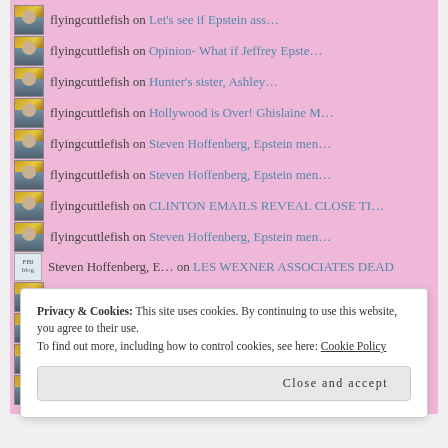flyingcuttlefish on Let's see if Epstein ass…
flyingcuttlefish on Opinion- What if Jeffrey Epste…
flyingcuttlefish on Hunter's sister, Ashley…
flyingcuttlefish on Hollywood is Over! Ghislaine M…
flyingcuttlefish on Steven Hoffenberg, Epstein men…
flyingcuttlefish on Steven Hoffenberg, Epstein men…
flyingcuttlefish on CLINTON EMAILS REVEAL CLOSE TI…
flyingcuttlefish on Steven Hoffenberg, Epstein men…
Steven Hoffenberg, E… on LES WEXNER ASSOCIATES DEAD
flyingcuttlefish on LES WEXNER ASSOCIATES DEAD
flyingcuttlefish on New Book: Epstein got involved…
flyingcuttlefish on Hunter's sister, Ashley…
flyingcuttlefish on Pizzagate Canada edition 🍁
Privacy & Cookies: This site uses cookies. By continuing to use this website, you agree to their use.
To find out more, including how to control cookies, see here: Cookie Policy
Close and accept